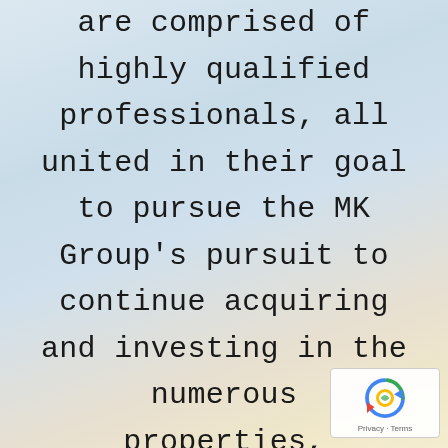are comprised of highly qualified professionals, all united in their goal to pursue the MK Group's pursuit to continue acquiring and investing in the numerous properties, revitalizing and giving them new
[Figure (other): reCAPTCHA privacy badge with rotating arrows icon and Privacy - Terms text]